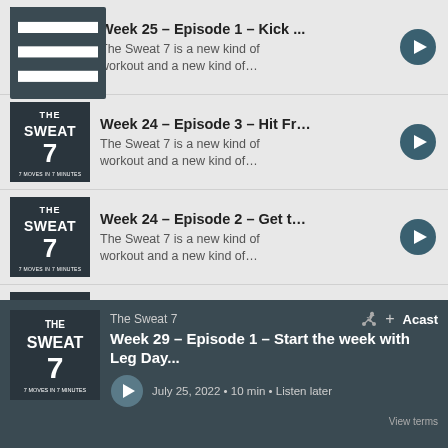Week 25 – Episode 1 – Kick ... The Sweat 7 is a new kind of workout and a new kind of…
Week 24 – Episode 3 – Hit Fr… The Sweat 7 is a new kind of workout and a new kind of…
Week 24 – Episode 2 – Get t… The Sweat 7 is a new kind of workout and a new kind of…
Week 24 – Episode 1 – Inchi… The Sweat 7 is a new kind of workout and a new kind of…
Week 23 – Episode 3 – It's all… The Sweat 7 is a new kind of
[Figure (screenshot): Podcast player bar showing The Sweat 7, Week 29 – Episode 1 – Start the week with Leg Day…, July 25, 2022 • 10 min • Listen later, with Acast branding]